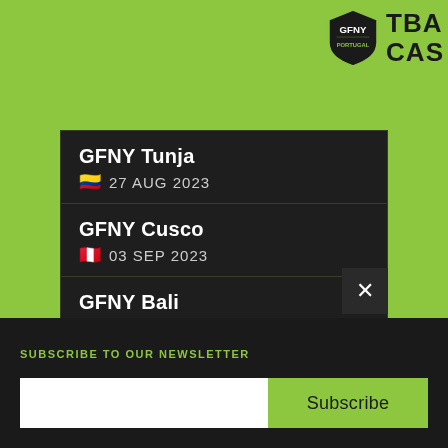[Figure (logo): GFNY Portugal shield logo with text TBA CAS on top right area]
GFNY Tunja
🇨🇴 27 AUG 2023
GFNY Cusco
🇵🇪 03 SEP 2023
GFNY Bali
🇮🇩 17 SEP 2023
GFNY Portugal
🇵🇹
SUBSCRIBE TO OUR NEWSLETTER
Subscribe